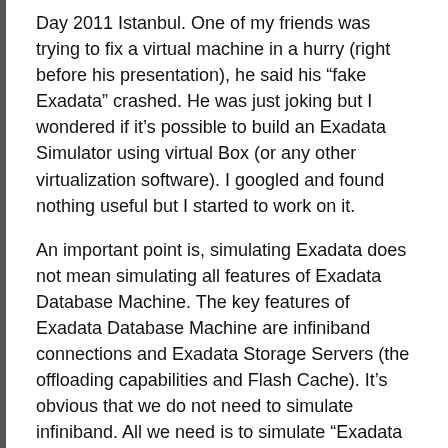Day 2011 Istanbul. One of my friends was trying to fix a virtual machine in a hurry (right before his presentation), he said his “fake Exadata” crashed. He was just joking but I wondered if it’s possible to build an Exadata Simulator using virtual Box (or any other virtualization software). I googled and found nothing useful but I started to work on it.
An important point is, simulating Exadata does not mean simulating all features of Exadata Database Machine. The key features of Exadata Database Machine are infiniband connections and Exadata Storage Servers (the offloading capabilities and Flash Cache). It’s obvious that we do not need to simulate infiniband. All we need is to simulate “Exadata Storage Servers”.
Smart scanning, storage indexes, hybrid columnar compression, I/O resource manager, smart flash cache are all handled by the Exadata Storage Server “Software”. Although it’s called Oracle Exadata Database “Machine”...